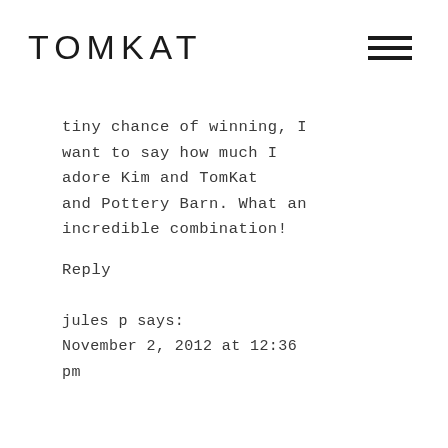TOMKAT
tiny chance of winning, I want to say how much I adore Kim and TomKat and Pottery Barn. What an incredible combination!
Reply
jules p says:
November 2, 2012 at 12:36 pm